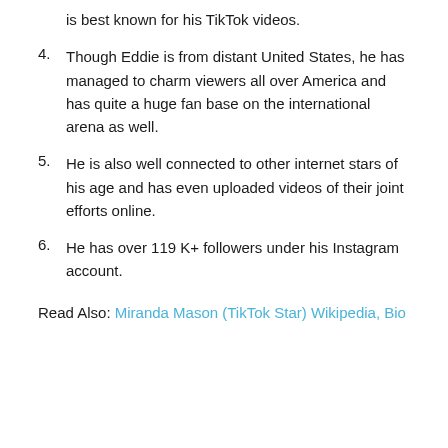is best known for his TikTok videos.
4. Though Eddie is from distant United States, he has managed to charm viewers all over America and has quite a huge fan base on the international arena as well.
5. He is also well connected to other internet stars of his age and has even uploaded videos of their joint efforts online.
6. He has over 119 K+ followers under his Instagram account.
Read Also: Miranda Mason (TikTok Star) Wikipedia, Bio